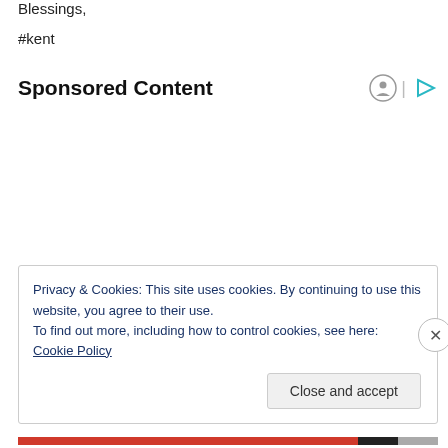Blessings,
#kent
Sponsored Content
Privacy & Cookies: This site uses cookies. By continuing to use this website, you agree to their use.
To find out more, including how to control cookies, see here: Cookie Policy
Close and accept